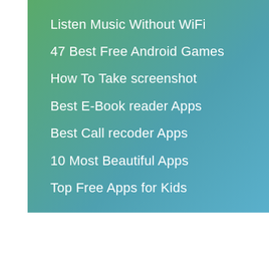Listen Music Without WiFi
47 Best Free Android Games
How To Take screenshot
Best E-Book reader Apps
Best Call recoder Apps
10 Most Beautiful Apps
Top Free Apps for Kids